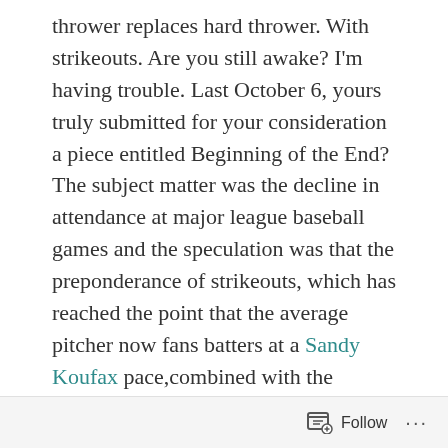thrower replaces hard thrower. With strikeouts. Are you still awake? I'm having trouble. Last October 6, yours truly submitted for your consideration a piece entitled Beginning of the End? The subject matter was the decline in attendance at major league baseball games and the speculation was that the preponderance of strikeouts, which has reached the point that the average pitcher now fans batters at a Sandy Koufax pace,combined with the absence of some of the more exciting plays like stolen bases, sacrifices and squeeze plays and in general just putting the ball in play has begun to turn off baseball lovers while lengthening games and reducing the demand for over the counter and other sleeping aids. Whatever the causes, the decline in turnstile clicking has increased so far in 2019.
Follow ...